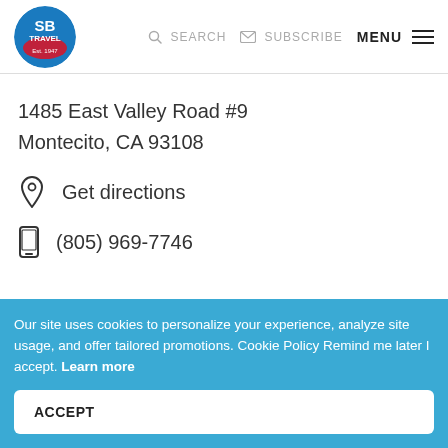[Figure (logo): SB Travel Est. 1947 circular logo with blue and red background]
SEARCH  SUBSCRIBE  MENU
1485 East Valley Road #9
Montecito, CA 93108
Get directions
(805) 969-7746
Our site uses cookies to personalize your experience, analyze site usage, and offer tailored promotions. Cookie Policy Remind me later I accept. Learn more
ACCEPT